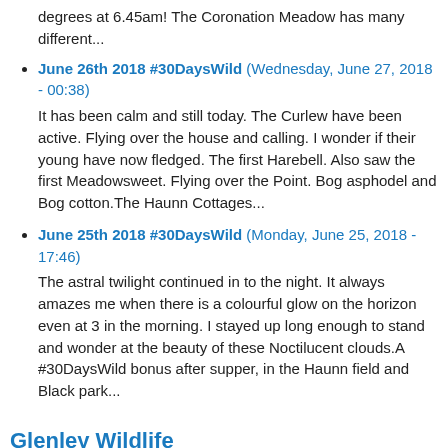degrees at 6.45am!  The Coronation Meadow has many different...
June 26th 2018 #30DaysWild (Wednesday, June 27, 2018 - 00:38)
It has been calm and still today.  The Curlew have been active.  Flying over the house and calling.   I wonder if their young have now fledged. The first Harebell.  Also saw the first Meadowsweet. Flying over the Point. Bog asphodel and Bog cotton.The Haunn Cottages...
June 25th 2018 #30DaysWild (Monday, June 25, 2018 - 17:46)
The astral twilight continued in to the night.  It always amazes me when there is a colourful glow on the horizon even at 3 in the morning. I stayed up long enough to stand and wonder at the beauty of these Noctilucent clouds.A #30DaysWild bonus after supper, in the Haunn field and Black park...
Glenley Wildlife